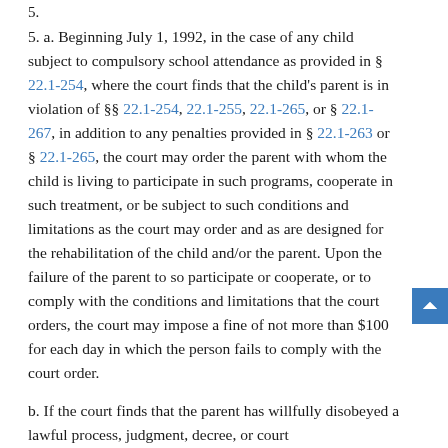5.
5. a. Beginning July 1, 1992, in the case of any child subject to compulsory school attendance as provided in § 22.1-254, where the court finds that the child's parent is in violation of §§ 22.1-254, 22.1-255, 22.1-265, or § 22.1-267, in addition to any penalties provided in § 22.1-263 or § 22.1-265, the court may order the parent with whom the child is living to participate in such programs, cooperate in such treatment, or be subject to such conditions and limitations as the court may order and as are designed for the rehabilitation of the child and/or the parent. Upon the failure of the parent to so participate or cooperate, or to comply with the conditions and limitations that the court orders, the court may impose a fine of not more than $100 for each day in which the person fails to comply with the court order.
b. If the court finds that the parent has willfully disobeyed a lawful process, judgment, decree, or court